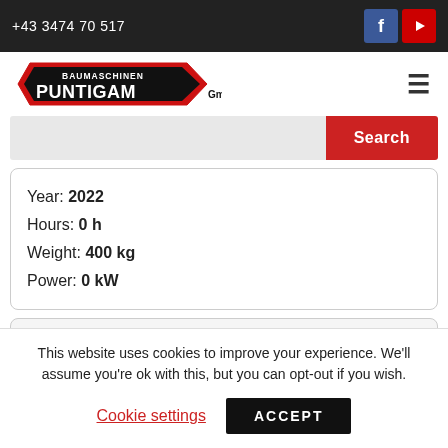+43 3474 70 517
[Figure (logo): Baumaschinen Puntigam GmbH logo with red and black design]
Year: 2022
Hours: 0 h
Weight: 400 kg
Power: 0 kW
This website uses cookies to improve your experience. We'll assume you're ok with this, but you can opt-out if you wish.
Cookie settings   ACCEPT